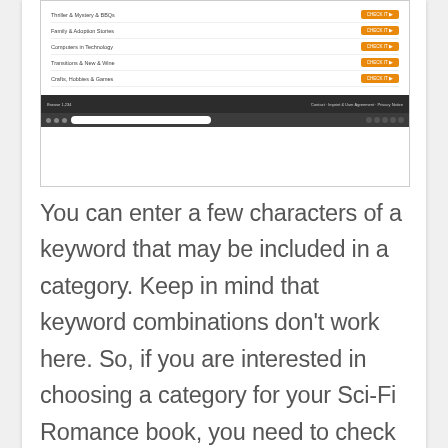[Figure (screenshot): A screenshot of a website interface showing a list of categories with orange buttons on the right side, and a browser address bar at the bottom.]
You can enter a few characters of a keyword that may be included in a category. Keep in mind that keyword combinations don't work here. So, if you are interested in choosing a category for your Sci-Fi Romance book, you need to check Sci-Fi first, then Romance. As an example, you can check out below